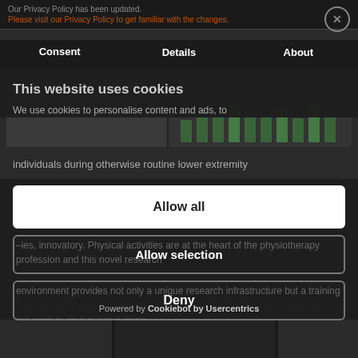Our Privacy Policy has been updated.
Please visit our Privacy Policy to get familiar with the changes.
Consent | Details | About
This website uses cookies
We use cookies to personalise content and ads, to
individuals during otherwise routine lower extremity
Allow all
Allow selection
Deny
–ies, innovatory. Physical activities are at the heart of the physiotherapy profession and this novel research environment provides not only a unique research infrastructure but a training ground for the future of physiotherapy. We would like to share elements of our work to date in these areas.
Powered by Cookiebot by Usercentrics